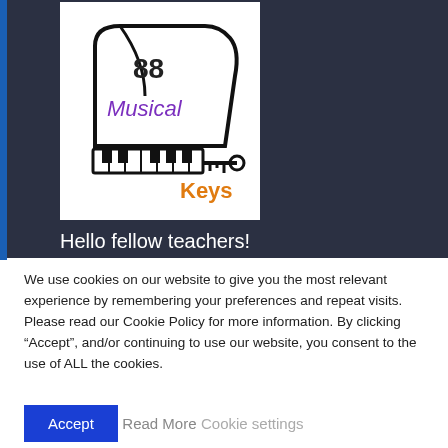[Figure (logo): 88 Musical Keys logo featuring a grand piano silhouette, piano keys, a key/lock graphic, with 'Musical' in purple italic script and 'Keys' in orange bold text]
Hello fellow teachers!
We use cookies on our website to give you the most relevant experience by remembering your preferences and repeat visits. Please read our Cookie Policy for more information. By clicking “Accept”, and/or continuing to use our website, you consent to the use of ALL the cookies.
Accept | Read More | Cookie settings